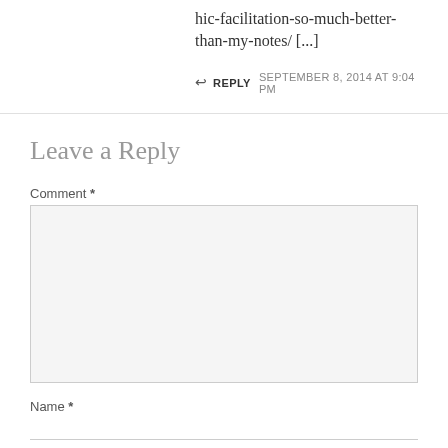hic-facilitation-so-much-better-than-my-notes/ [...]
↩ REPLY   SEPTEMBER 8, 2014 AT 9:04 PM
Leave a Reply
Comment *
Name *